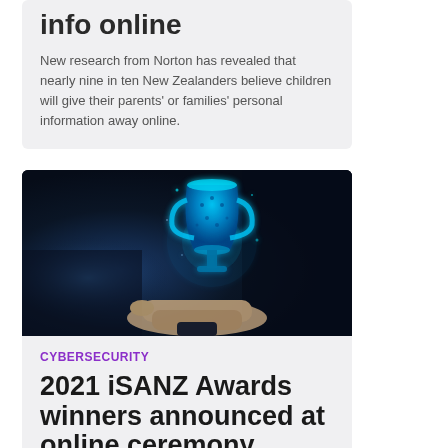info online
New research from Norton has revealed that nearly nine in ten New Zealanders believe children will give their parents' or families' personal information away online.
[Figure (photo): A hand holding a glowing blue digital trophy/cup against a dark bokeh background, representing cybersecurity awards.]
CYBERSECURITY
2021 iSANZ Awards winners announced at online ceremony